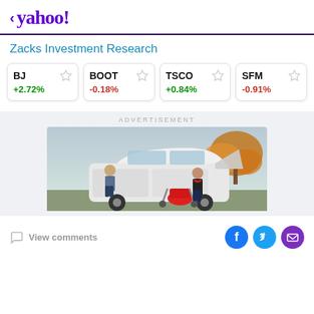< yahoo!
Zacks Investment Research
| Symbol | Change |
| --- | --- |
| BJ | +2.72% |
| BOOT | -0.18% |
| TSCO | +0.84% |
| SFM | -0.91% |
[Figure (photo): Advertisement photo showing a family loading a baby stroller into the trunk of a white SUV in an autumn outdoor setting.]
View comments
[Figure (infographic): Social media share icons: Facebook (blue circle with F), Twitter (light blue circle with bird), Email (purple circle with envelope)]